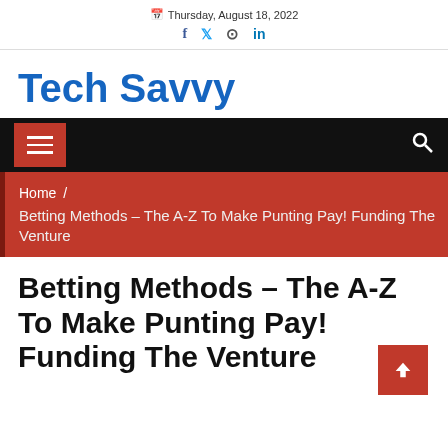Thursday, August 18, 2022
Tech Savvy
[Figure (other): Black navigation bar with red hamburger menu button on left and white search icon on right]
Home / Betting Methods – The A-Z To Make Punting Pay! Funding The Venture
Betting Methods – The A-Z To Make Punting Pay! Funding The Venture